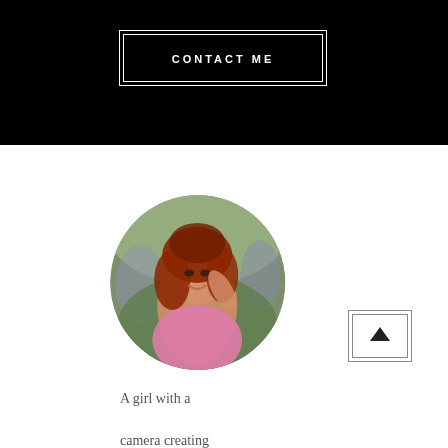CONTACT ME
[Figure (photo): Circular profile photo of a woman with long red wavy hair, wearing a pink top, smiling, with a blurred outdoor background of green foliage and purple flowers.]
[Figure (other): Scroll-to-top button icon: nested square border with a solid black upward triangle arrow inside.]
A girl with a camera creating